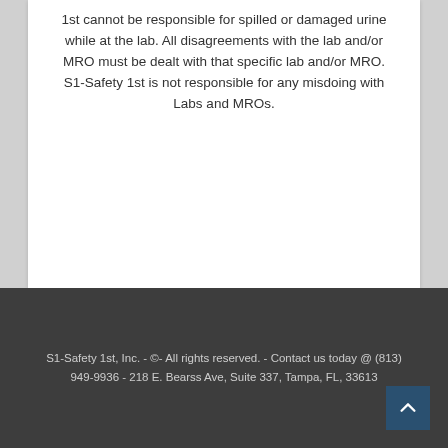1st cannot be responsible for spilled or damaged urine while at the lab. All disagreements with the lab and/or MRO must be dealt with that specific lab and/or MRO. S1-Safety 1st is not responsible for any misdoing with Labs and MROs.
S1-Safety 1st, Inc. - ©- All rights reserved. - Contact us today @ (813) 949-9936 - 218 E. Bearss Ave, Suite 337, Tampa, FL, 33613